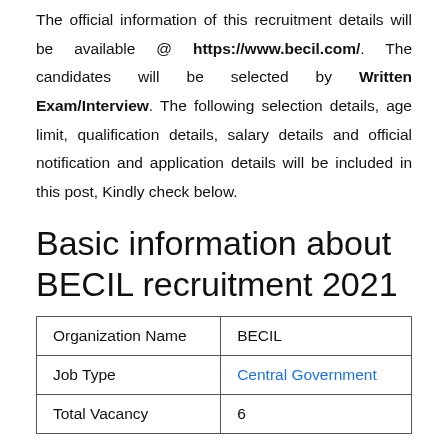The official information of this recruitment details will be available @ https://www.becil.com/. The candidates will be selected by Written Exam/Interview. The following selection details, age limit, qualification details, salary details and official notification and application details will be included in this post, Kindly check below.
Basic information about BECIL recruitment 2021
|  |  |
| --- | --- |
| Organization Name | BECIL |
| Job Type | Central Government |
| Total Vacancy | 6 |